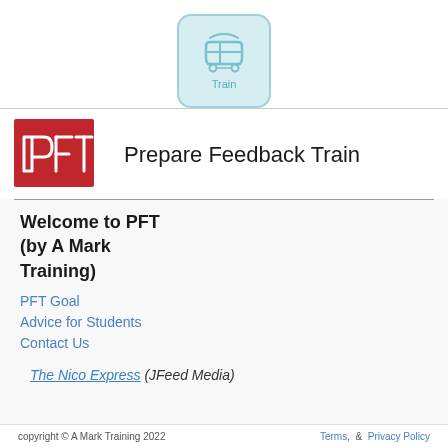[Figure (illustration): A light blue rounded square icon with a train symbol and the label 'Train' below it]
[Figure (logo): PFT logo: red rectangle with white stylized letters P, F, T]
Prepare Feedback Train
Welcome to PFT (by A Mark Training)
PFT Goal
Advice for Students
Contact Us
The Nico Express (JFeed Media)
copyright © A Mark Training 2022   Terms,  &  Privacy Policy